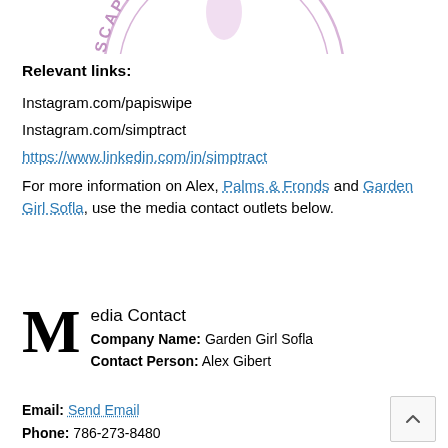[Figure (logo): Partial circular logo with text 'SCAPE AND GARDEN D' visible in pink/purple on white background, top of page]
Relevant links:
Instagram.com/papiswipe
Instagram.com/simptract
https://www.linkedin.com/in/simptract
For more information on Alex, Palms & Fronds and Garden Girl Sofla, use the media contact outlets below.
Media Contact
Company Name: Garden Girl Sofla
Contact Person: Alex Gibert
Email: Send Email
Phone: 786-273-8480
Address: 2490 NE 184 St NMB
City: Miami